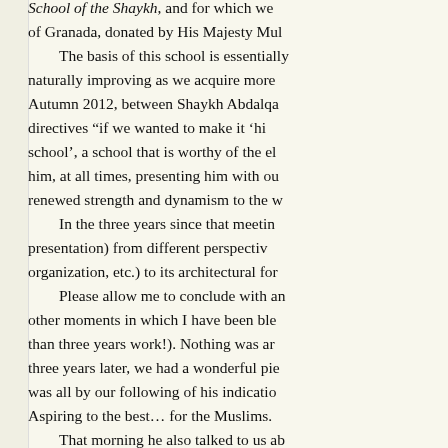School of the Shaykh, and for which we of Granada, donated by His Majesty Mul The basis of this school is essentially naturally improving as we acquire more Autumn 2012, between Shaykh Abdalqa directives "if we wanted to make it 'hi school', a school that is worthy of the el him, at all times, presenting him with ou renewed strength and dynamism to the w In the three years since that meetin presentation) from different perspectiv organization, etc.) to its architectural for Please allow me to conclude with an other moments in which I have been ble than three years work!). Nothing was ar three years later, we had a wonderful pie was all by our following of his indicatio Aspiring to the best… for the Muslims. That morning he also talked to us ab